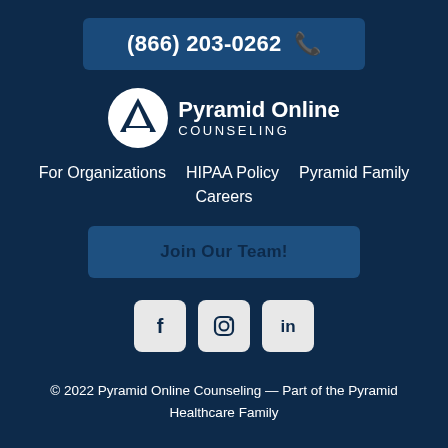(866) 203-0262
[Figure (logo): Pyramid Online Counseling logo with white circle/mountain icon and text 'Pyramid Online COUNSELING']
For Organizations   HIPAA Policy   Pyramid Family
Careers
Join Our Team!
[Figure (other): Social media icons: Facebook (f), Instagram (camera), LinkedIn (in) in light grey rounded square boxes]
© 2022 Pyramid Online Counseling — Part of the Pyramid Healthcare Family